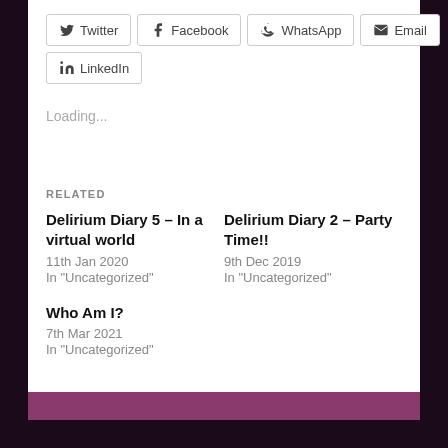Twitter
Facebook
WhatsApp
Email
LinkedIn
Loading...
RELATED
Delirium Diary 5 – In a virtual world
11th Jan 2020
In "Uncategorized"
Delirium Diary 2 – Party Time!!
9th Dec 2019
In "Uncategorized"
Who Am I?
7th Mar 2021
In "Uncategorized"